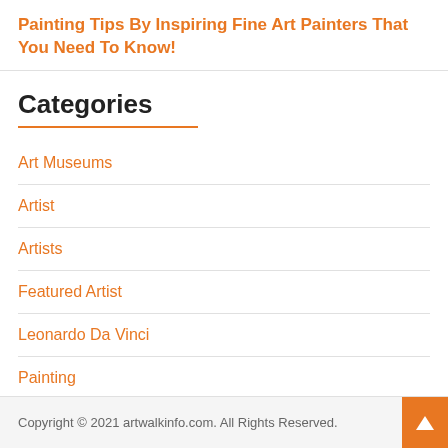Painting Tips By Inspiring Fine Art Painters That You Need To Know!
Categories
Art Museums
Artist
Artists
Featured Artist
Leonardo Da Vinci
Painting
Copyright © 2021 artwalkinfo.com. All Rights Reserved.